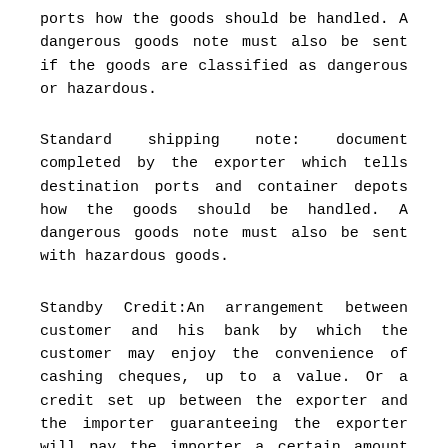ports how the goods should be handled. A dangerous goods note must also be sent if the goods are classified as dangerous or hazardous.
Standard shipping note: document completed by the exporter which tells destination ports and container depots how the goods should be handled. A dangerous goods note must also be sent with hazardous goods.
Standby Credit:An arrangement between customer and his bank by which the customer may enjoy the convenience of cashing cheques, up to a value. Or a credit set up between the exporter and the importer guaranteeing the exporter will pay the importer a certain amount of money if the contract is not fulfilled. It is also known as performance bond. This is usually found in large transactions, such as crude oil, fertilizers, fishmeal, sugar